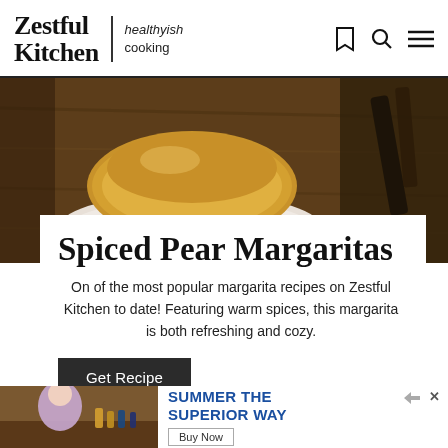Zestful Kitchen | healthyish cooking
[Figure (photo): Close-up photo of a yellow/gold ceramic bowl on a white marble coaster on a wooden surface, with dark utensils visible in the background]
Spiced Pear Margaritas
On of the most popular margarita recipes on Zestful Kitchen to date! Featuring warm spices, this margarita is both refreshing and cozy.
Get Recipe
[Figure (screenshot): Advertisement banner showing a person at a table with drinks, text reading 'SUMMER THE SUPERIOR WAY' in blue, and a 'Buy Now' button]